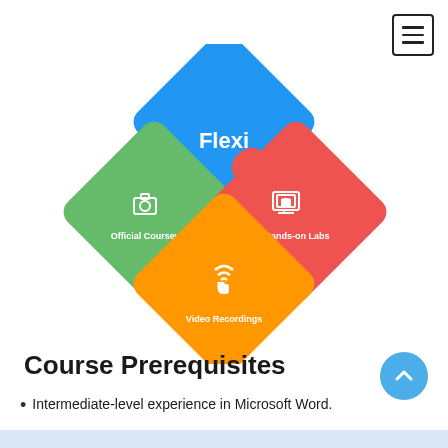[Figure (infographic): Flexi puzzle-piece infographic showing four interconnected diamond/square tiles: blue top piece labeled 'Flexi', green left piece labeled 'Official Courseware' with a camera/screen icon, red right piece labeled 'Hands-on Labs' with a laptop/book icon, and orange bottom piece labeled 'Video Recordings' with a hand-touch/wifi icon. The pieces fit together like a jigsaw puzzle.]
Course Prerequisites
Intermediate-level experience in Microsoft Word.